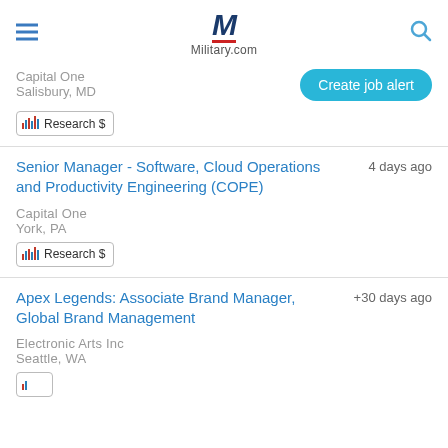Military.com
Capital One
Salisbury, MD
Research $
Create job alert
Senior Manager - Software, Cloud Operations and Productivity Engineering (COPE)
4 days ago
Capital One
York, PA
Research $
Apex Legends: Associate Brand Manager, Global Brand Management
+30 days ago
Electronic Arts Inc
Seattle, WA